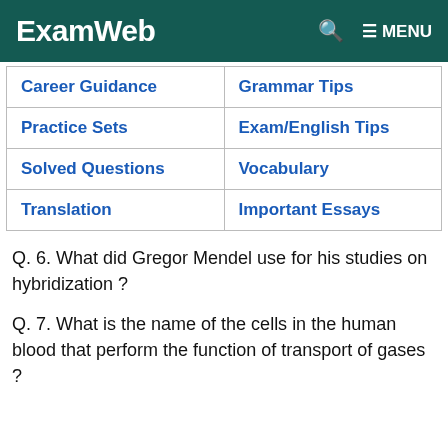ExamWeb  🔍  ≡ MENU
| Career Guidance | Grammar Tips |
| Practice Sets | Exam/English Tips |
| Solved Questions | Vocabulary |
| Translation | Important Essays |
Q. 6. What did Gregor Mendel use for his studies on hybridization ?
Q. 7. What is the name of the cells in the human blood that perform the function of transport of gases ?